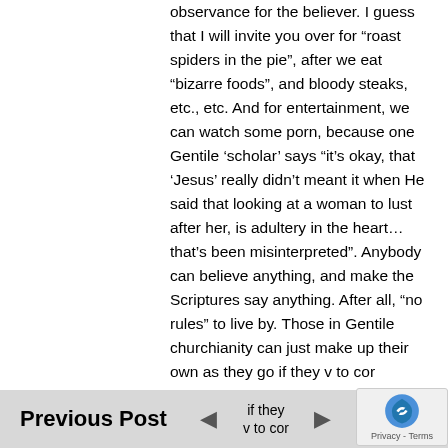observance for the believer. I guess that I will invite you over for “roast spiders in the pie”, after we eat “bizarre foods”, and bloody steaks, etc., etc. And for entertainment, we can watch some porn, because one Gentile ‘scholar’ says “it’s okay, that ‘Jesus’ really didn’t meant it when He said that looking at a woman to lust after her, is adultery in the heart…that’s been misinterpreted”. Anybody can believe anything, and make the Scriptures say anything. After all, “no rules” to live by. Those in Gentile churchianity can just make up their own as they go if they v to cor
Previous Post   Next Po...